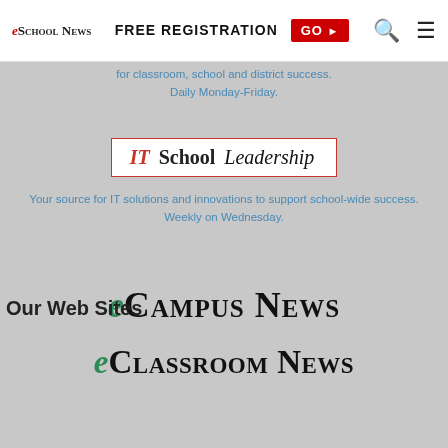eSchool News | FREE REGISTRATION GO ▶
for classroom, school and district success. Daily Monday-Friday.
[Figure (logo): IT School Leadership logo — red italic IT, bold School, italic Leadership, red border box]
Your source for IT solutions and innovations to support school-wide success. Weekly on Wednesday.
Our Web Sites
[Figure (logo): eCampus News logo — italic green e followed by small-caps CAMPUS NEWS in dark/black]
[Figure (logo): eClassroom News logo — italic green e followed by small-caps CLASSROOM NEWS in dark/black]